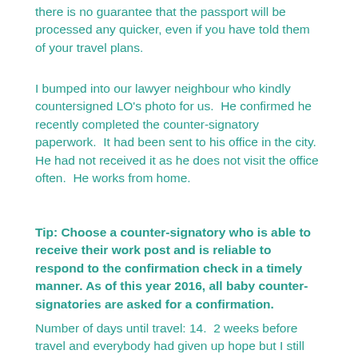there is no guarantee that the passport will be processed any quicker, even if you have told them of your travel plans.
I bumped into our lawyer neighbour who kindly countersigned LO's photo for us.  He confirmed he recently completed the counter-signatory paperwork.  It had been sent to his office in the city.  He had not received it as he does not visit the office often.  He works from home.
Tip: Choose a counter-signatory who is able to receive their work post and is reliable to respond to the confirmation check in a timely manner. As of this year 2016, all baby counter-signatories are asked for a confirmation.
Number of days until travel: 14.  2 weeks before travel and everybody had given up hope but I still had faith